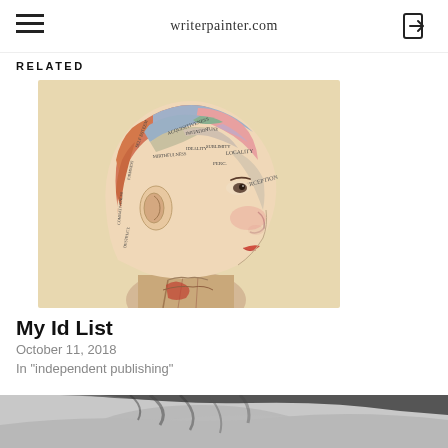writerpainter.com
RELATED
[Figure (illustration): Vintage phrenology diagram showing a side profile of a human head with colored brain regions labeled with various mental faculties]
My Id List
October 11, 2018
In "independent publishing"
[Figure (photo): Black and white photograph of a person, partially visible, cropped at top of page bottom]